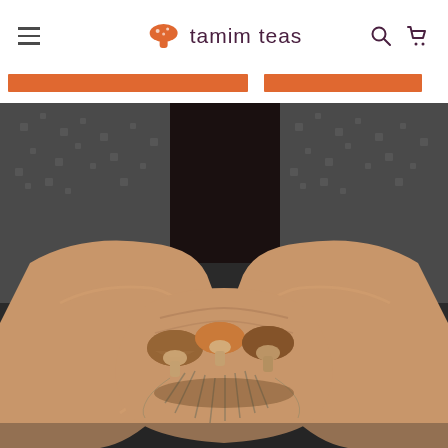tamim teas — navigation header with hamburger menu, logo, search and cart icons
[Figure (photo): Close-up photograph of two hands cupping dried mushrooms, wearing a patterned knit sweater in the background. The mushrooms include shiitake-type varieties with brown caps and pale undersides, held gently in cupped palms.]